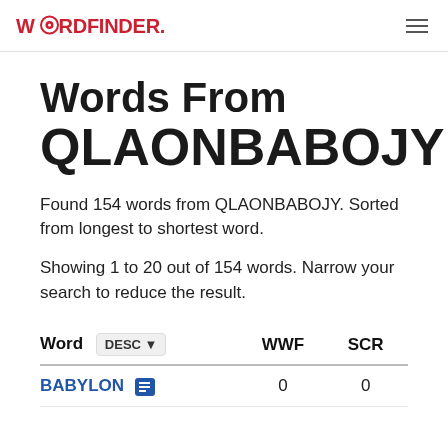WORDFINDER.CAFE
Words From QLAONBABOJY
Found 154 words from QLAONBABOJY. Sorted from longest to shortest word.
Showing 1 to 20 out of 154 words. Narrow your search to reduce the result.
| Word | DESC | WWF | SCR |
| --- | --- | --- | --- |
| BABYLON |  | 0 | 0 |